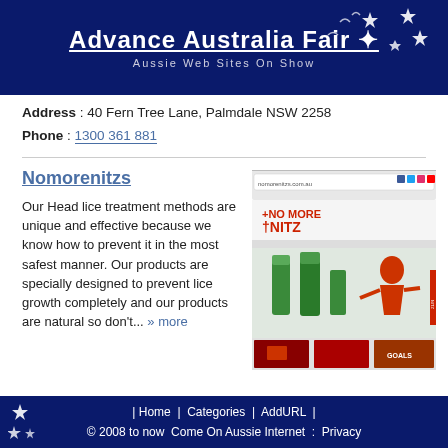Advance Australia Fair — Aussie Web Sites On Show
Address : 40 Fern Tree Lane, Palmdale NSW 2258
Phone : 1300 361 881
Nomorenitzs
Our Head lice treatment methods are unique and effective because we know how to prevent it in the most safest manner. Our products are specially designed to prevent lice growth completely and our products are natural so don't... » more
[Figure (screenshot): Screenshot of the Nomorenitzs website showing a product page with green bottles and promotional imagery]
| Home | Categories | AddURL | © 2008 to now Come On Aussie Internet : Privacy